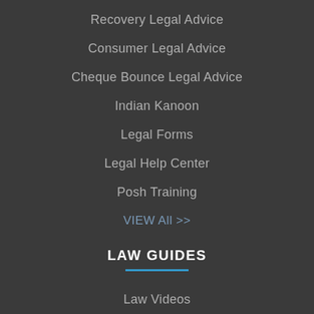Recovery Legal Advice
Consumer Legal Advice
Cheque Bounce Legal Advice
Indian Kanoon
Legal Forms
Legal Help Center
Posh Training
VIEW All >>
LAW GUIDES
Law Videos
IPC Sections